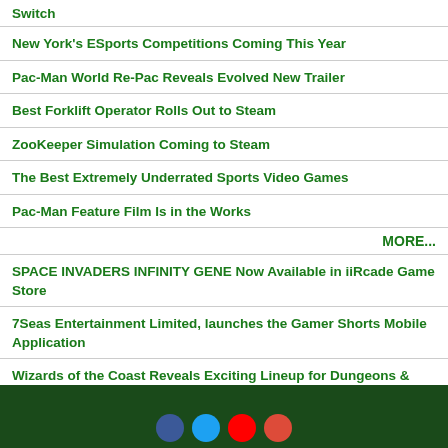Switch
New York's ESports Competitions Coming This Year
Pac-Man World Re-Pac Reveals Evolved New Trailer
Best Forklift Operator Rolls Out to Steam
ZooKeeper Simulation Coming to Steam
The Best Extremely Underrated Sports Video Games
Pac-Man Feature Film Is in the Works
MORE...
SPACE INVADERS INFINITY GENE Now Available in iiRcade Game Store
7Seas Entertainment Limited, launches the Gamer Shorts Mobile Application
Wizards of the Coast Reveals Exciting Lineup for Dungeons & Dragons and Magic: The Gathering
Ubitus support Team17 to release Thymesia on Nintendo Switch(TM), launching 18th August.
More news